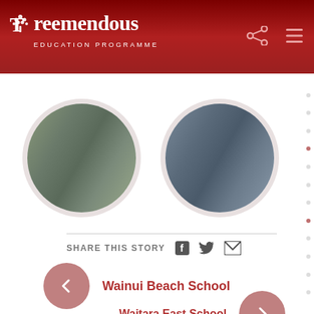Treemendous Education Programme
[Figure (photo): Two circular photos of students at an outdoor education activity]
SHARE THIS STORY
← Wainui Beach School
Waitara East School →